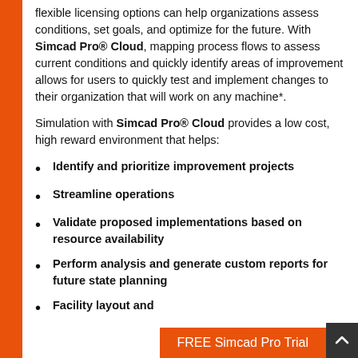flexible licensing options can help organizations assess conditions, set goals, and optimize for the future. With Simcad Pro® Cloud, mapping process flows to assess current conditions and quickly identify areas of improvement allows for users to quickly test and implement changes to their organization that will work on any machine*.
Simulation with Simcad Pro® Cloud provides a low cost, high reward environment that helps:
Identify and prioritize improvement projects
Streamline operations
Validate proposed implementations based on resource availability
Perform analysis and generate custom reports for future state planning
Facility layout and…